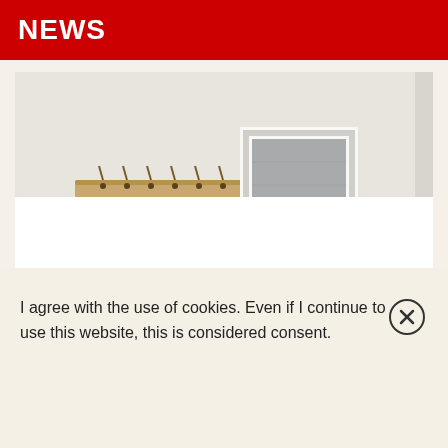NEWS
[Figure (photo): A wall-mounted wooden hook rack with metal hooks and a framed grey artwork, partially visible with white lower section and grey sidebar.]
I agree with the use of cookies. Even if I continue to use this website, this is considered consent.